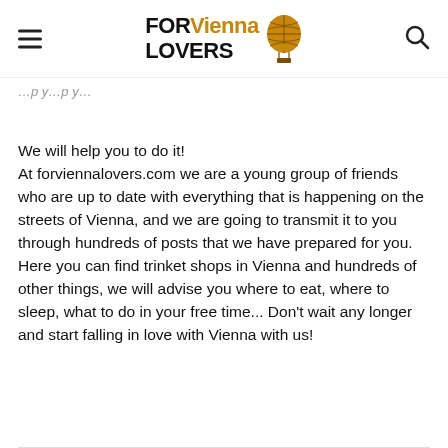FOR Vienna LOVERS
We will help you to do it! At forviennalovers.com we are a young group of friends who are up to date with everything that is happening on the streets of Vienna, and we are going to transmit it to you through hundreds of posts that we have prepared for you. Here you can find trinket shops in Vienna and hundreds of other things, we will advise you where to eat, where to sleep, what to do in your free time... Don't wait any longer and start falling in love with Vienna with us!